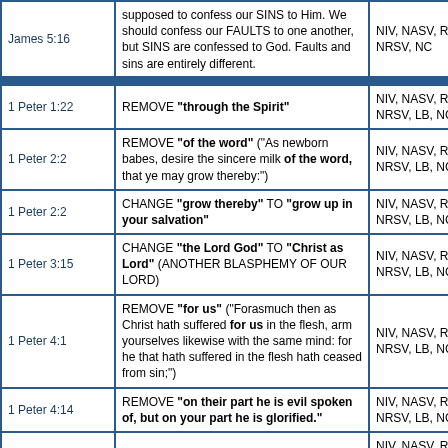| Reference | Change/Removal | Versions |
| --- | --- | --- |
| James 5:16 | supposed to confess our SINS to Him. We should confess our FAULTS to one another, but SINS are confessed to God. Faults and sins are entirely different. | NIV, NASV, RSV, NRSV, NC |
| 1 Peter 1:22 | REMOVE "through the Spirit" | NIV, NASV, RSV, NRSV, LB, NC |
| 1 Peter 2:2 | REMOVE "of the word" ("As newborn babes, desire the sincere milk of the word, that ye may grow thereby:") | NIV, NASV, RSV, NRSV, LB, NC |
| 1 Peter 2:2 | CHANGE "grow thereby" TO "grow up in your salvation" | NIV, NASV, RSV, NRSV, LB, NC |
| 1 Peter 3:15 | CHANGE "the Lord God" TO "Christ as Lord" (ANOTHER BLASPHEMY OF OUR LORD) | NIV, NASV, RSV, NRSV, LB, NC |
| 1 Peter 4:1 | REMOVE "for us" ("Forasmuch then as Christ hath suffered for us in the flesh, arm yourselves likewise with the same mind: for he that hath suffered in the flesh hath ceased from sin;") | NIV, NASV, RSV, NRSV, LB, NC |
| 1 Peter 4:14 | REMOVE "on their part he is evil spoken of, but on your part he is glorified." | NIV, NASV, RSV, NRSV, LB, NC |
| 1 Peter 5:10 | REMOVE "Jesus" | NIV, NASV, RSV, NRSV, LB |